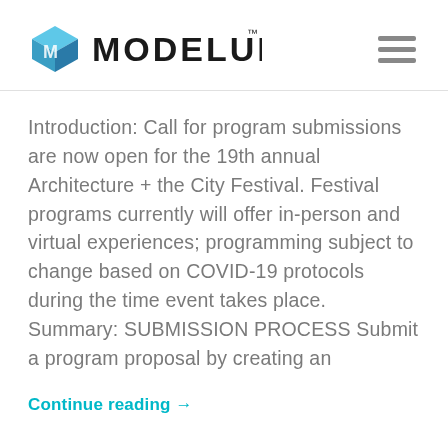MODELUR
Introduction: Call for program submissions are now open for the 19th annual Architecture + the City Festival. Festival programs currently will offer in-person and virtual experiences; programming subject to change based on COVID-19 protocols during the time event takes place.  Summary: SUBMISSION PROCESS Submit a program proposal by creating an
Continue reading →